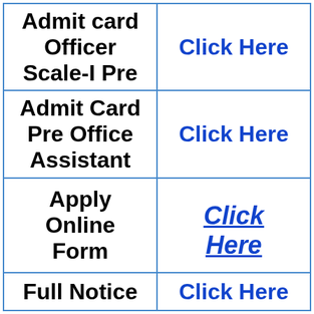| Admit card Officer Scale-I Pre | Click Here |
| Admit Card Pre Office Assistant | Click Here |
| Apply Online Form | Click Here |
| Full Notice | Click Here |